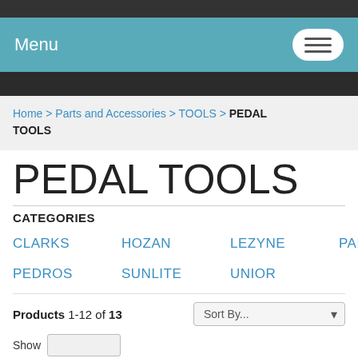Menu
Home > Parts and Accessories > TOOLS > PEDAL TOOLS
PEDAL TOOLS
CATEGORIES
CLARKS
HOZAN
LEZYNE
PARK TOOL
PEDROS
SUNLITE
UNIOR
Products 1-12 of 13
Sort By...